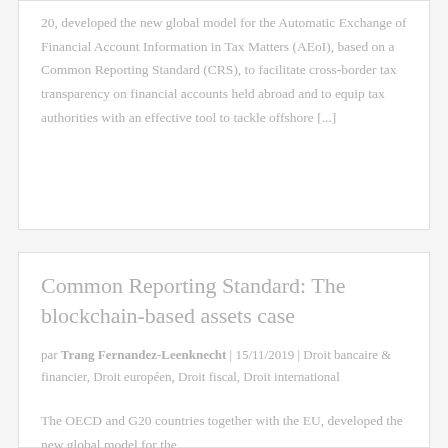20, developed the new global model for the Automatic Exchange of Financial Account Information in Tax Matters (AEoI), based on a Common Reporting Standard (CRS), to facilitate cross-border tax transparency on financial accounts held abroad and to equip tax authorities with an effective tool to tackle offshore [...]
Common Reporting Standard: The blockchain-based assets case
par Trang Fernandez-Leenknecht | 15/11/2019 | Droit bancaire & financier, Droit européen, Droit fiscal, Droit international
The OECD and G20 countries together with the EU, developed the new global model for the